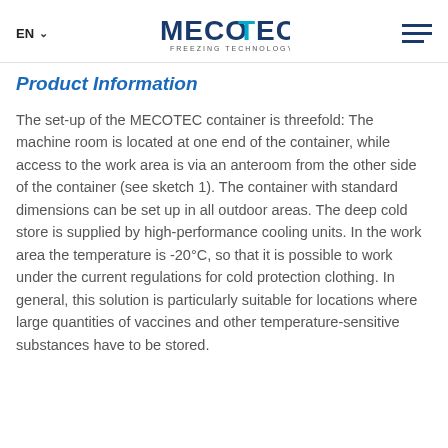EN  MECOTEC FREEZING TECHNOLOGY
Product Information
The set-up of the MECOTEC container is threefold: The machine room is located at one end of the container, while access to the work area is via an anteroom from the other side of the container (see sketch 1). The container with standard dimensions can be set up in all outdoor areas. The deep cold store is supplied by high-performance cooling units. In the work area the temperature is -20°C, so that it is possible to work under the current regulations for cold protection clothing. In general, this solution is particularly suitable for locations where large quantities of vaccines and other temperature-sensitive substances have to be stored.